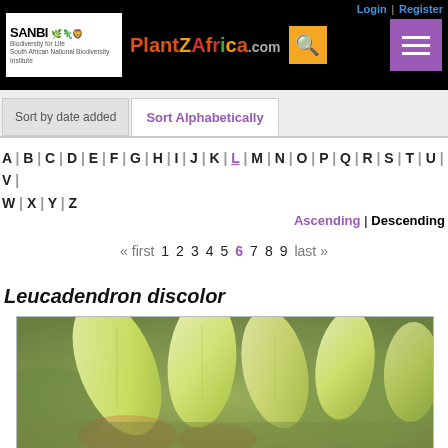Login | Register — PlantZAfrica.com — SANBI navigation header
Sort by date added | Sort Alphabetically
A | B | C | D | E | F | G | H | I | J | K | L | M | N | O | P | Q | R | S | T | U | V | W | X | Y | Z
Ascending | Descending
« first  1  2  3  4  5  6  7  8  9  last »
Leucadendron discolor
[Figure (photo): Close-up photograph of Leucadendron discolor showing pale yellow-green leaves/bracts arranged in a whorl pattern, with a blurred natural background]